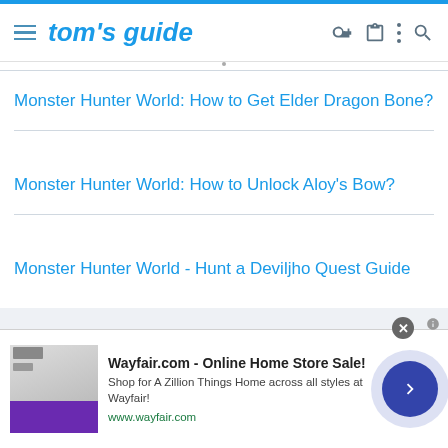tom's guide
Monster Hunter World: How to Get Elder Dragon Bone?
Monster Hunter World: How to Unlock Aloy's Bow?
Monster Hunter World - Hunt a Deviljho Quest Guide
[Figure (screenshot): Gray background area below the list items]
Wayfair.com - Online Home Store Sale! Shop for A Zillion Things Home across all styles at Wayfair! www.wayfair.com